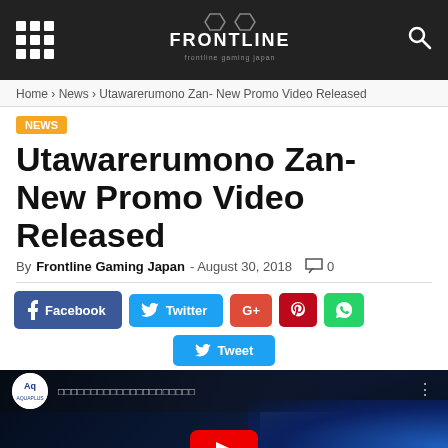Frontline Gaming Japan
Home › News › Utawarerumono Zan- New Promo Video Released
NEWS
Utawarerumono Zan- New Promo Video Released
By Frontline Gaming Japan - August 30, 2018  💬 0
[Figure (screenshot): Social sharing buttons: Facebook, Twitter, Google+, Pinterest, WhatsApp, and Tweet button]
[Figure (screenshot): YouTube video thumbnail showing an anime character with long dark hair and a YouTube play button overlay, with Aquaplus channel logo in top left corner]